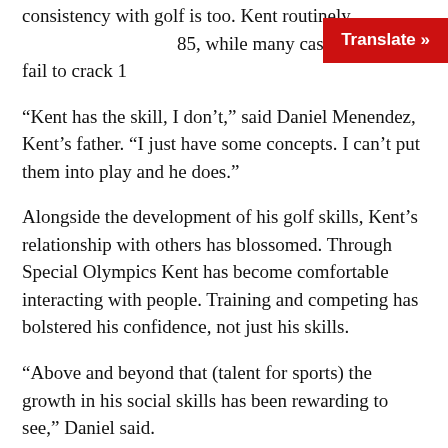consistency with golf is too. Kent routinely shoots 85, while many casual golfers fail to crack 1...
“Kent has the skill, I don’t,” said Daniel Menendez, Kent’s father. “I just have some concepts. I can’t put them into play and he does.”
Alongside the development of his golf skills, Kent’s relationship with others has blossomed. Through Special Olympics Kent has become comfortable interacting with people. Training and competing has bolstered his confidence, not just his skills.
“Above and beyond that (talent for sports) the growth in his social skills has been rewarding to see,” Daniel said.
Aside from making new friends and building a community, his connection with his father had strengthened due to golf. Kent and Daniel’s rapport is palpable on and off the course. In fact,